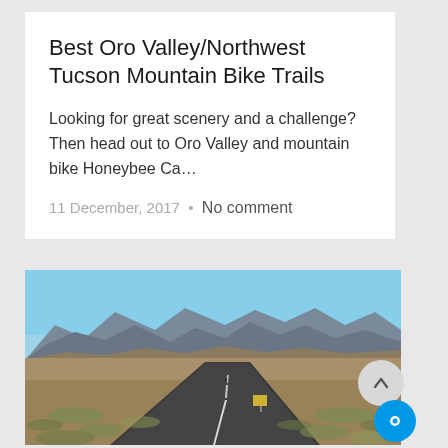Best Oro Valley/Northwest Tucson Mountain Bike Trails
Looking for great scenery and a challenge? Then head out to Oro Valley and mountain bike Honeybee Ca...
11 December, 2017  •  No comment
[Figure (photo): Desert landscape with a straight road leading toward mountains under a blue sky, with scrubby desert vegetation on both sides.]